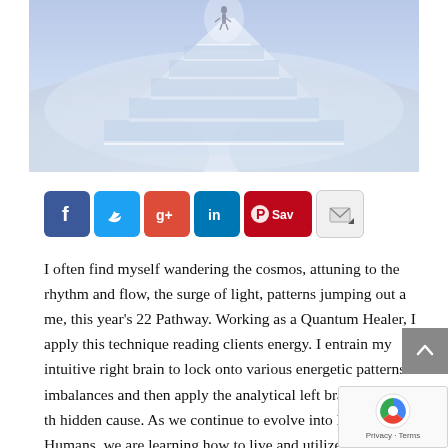[Figure (photo): A person standing atop glowing white staircase steps rising through clouds in a dreamy blue-white sky scene]
[Figure (infographic): Social sharing buttons: Facebook (blue), Twitter (cyan), Google+ (orange-red), LinkedIn (blue), Pinterest Save (red), Email/envelope icon (light)]
I often find myself wandering the cosmos, attuning to the rhythm and flow, the surge of light, patterns jumping out a me, this year's 22 Pathway. Working as a Quantum Healer, I apply this technique reading clients energy. I entrain my intuitive right brain to lock onto various energetic patterns or imbalances and then apply the analytical left brain to reveal the hidden cause. As we continue to evolve into Divine Humans, we are learning how to live and utilize our